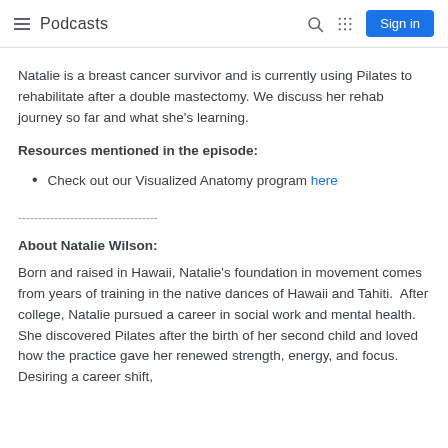Podcasts | Sign in
Natalie is a breast cancer survivor and is currently using Pilates to rehabilitate after a double mastectomy. We discuss her rehab journey so far and what she's learning.
Resources mentioned in the episode:
Check out our Visualized Anatomy program here
-----------------------------------
About Natalie Wilson:
Born and raised in Hawaii, Natalie's foundation in movement comes from years of training in the native dances of Hawaii and Tahiti.  After college, Natalie pursued a career in social work and mental health.  She discovered Pilates after the birth of her second child and loved how the practice gave her renewed strength, energy, and focus. Desiring a career shift,